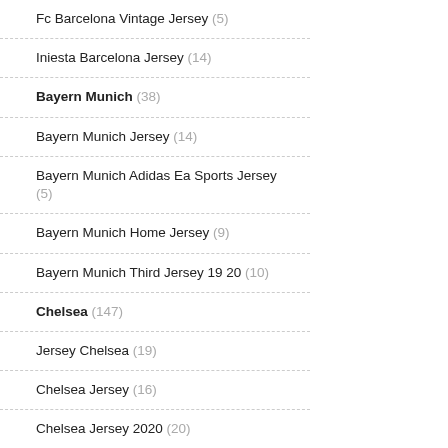Fc Barcelona Vintage Jersey (5)
Iniesta Barcelona Jersey (14)
Bayern Munich (38)
Bayern Munich Jersey (14)
Bayern Munich Adidas Ea Sports Jersey (5)
Bayern Munich Home Jersey (9)
Bayern Munich Third Jersey 19 20 (10)
Chelsea (147)
Jersey Chelsea (19)
Chelsea Jersey (16)
Chelsea Jersey 2020 (20)
Chelsea Jersey 2021 (12)
Chelsea Fc Jersey (20)
Chelsea Fc Goalie Jersey (14)
Chelsea Fc Home Jersey (12)